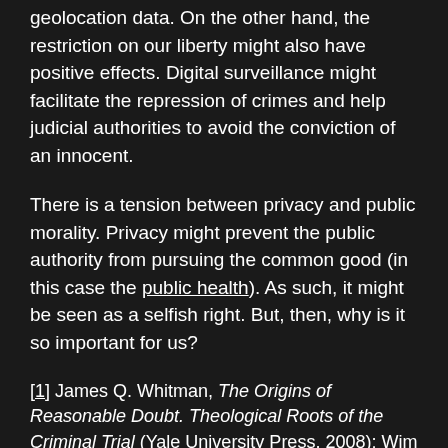geolocation data. On the other hand, the restriction on our liberty might also have positive effects. Digital surveillance might facilitate the repression of crimes and help judicial authorities to avoid the conviction of an innocent.
There is a tension between privacy and public morality. Privacy might prevent the public authority from pursuing the common good (in this case the public health). As such, it might be seen as a selfish right. But, then, why is it so important for us?
[1] James Q. Whitman, The Origins of Reasonable Doubt. Theological Roots of the Criminal Trial (Yale University Press, 2008); Wim Decock, 'The Judge's Conscience and the Protection of the Criminal Defendant: Moral Safeguards against Judicial Arbitrariness' in Georges Martyn and others (eds.), From the Judge's arbitrium to